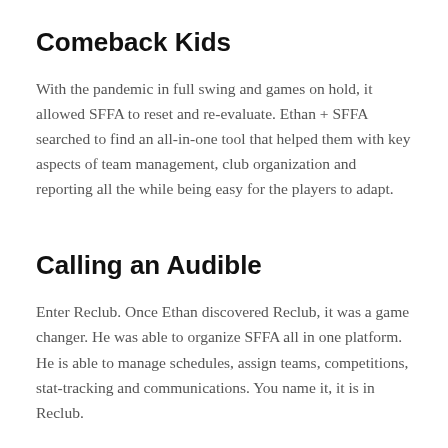Comeback Kids
With the pandemic in full swing and games on hold, it allowed SFFA to reset and re-evaluate. Ethan + SFFA searched to find an all-in-one tool that helped them with key aspects of team management, club organization and reporting all the while being easy for the players to adapt.
Calling an Audible
Enter Reclub. Once Ethan discovered Reclub, it was a game changer. He was able to organize SFFA all in one platform. He is able to manage schedules, assign teams, competitions, stat-tracking and communications. You name it, it is in Reclub.